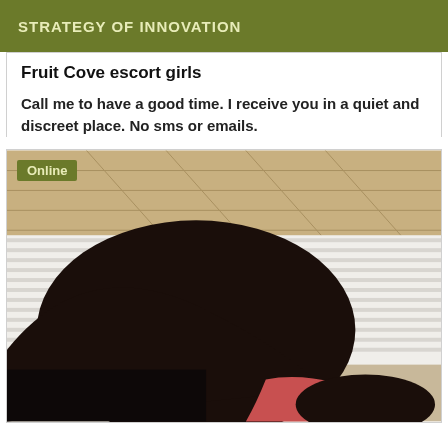STRATEGY OF INNOVATION
Fruit Cove escort girls
Call me to have a good time. I receive you in a quiet and discreet place. No sms or emails.
[Figure (photo): Photo of a person lying on a bed, seen from behind, with an 'Online' badge overlay in the top-left corner.]